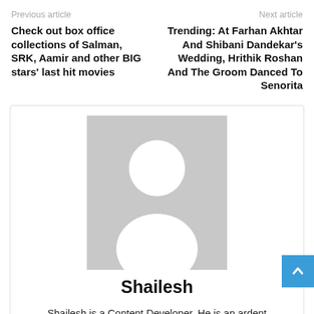Previous article | Next article
Check out box office collections of Salman, SRK, Aamir and other BIG stars' last hit movies
Trending: At Farhan Akhtar And Shibani Dandekar's Wedding, Hrithik Roshan And The Groom Danced To Senorita
[Figure (illustration): Generic user avatar placeholder image in gray]
Shailesh
Shailesh is a Content Developer. He is an ardent technology explorer who loves sharing ideas in the Tech, Business, Entertainment, Science and Health domains. In his free time, you will find him engrossed in books on health & wellness, and playing the guitar.